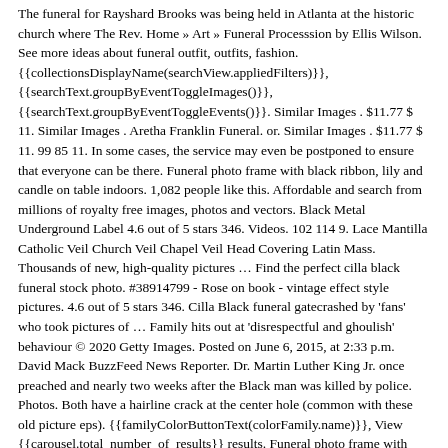The funeral for Rayshard Brooks was being held in Atlanta at the historic church where The Rev. Home » Art » Funeral Processsion by Ellis Wilson. See more ideas about funeral outfit, outfits, fashion. {{collectionsDisplayName(searchView.appliedFilters)}}, {{searchText.groupByEventToggleImages()}}, {{searchText.groupByEventToggleEvents()}}. Similar Images . $11.77 $ 11. Similar Images . Aretha Franklin Funeral. or. Similar Images . $11.77 $ 11. 99 85 11. In some cases, the service may even be postponed to ensure that everyone can be there. Funeral photo frame with black ribbon, lily and candle on table indoors. 1,082 people like this. Affordable and search from millions of royalty free images, photos and vectors. Black Metal Underground Label 4.6 out of 5 stars 346. Videos. 102 114 9. Lace Mantilla Catholic Veil Church Veil Chapel Veil Head Covering Latin Mass. Thousands of new, high-quality pictures … Find the perfect cilla black funeral stock photo. #38914799 - Rose on book - vintage effect style pictures. 4.6 out of 5 stars 346. Cilla Black funeral gatecrashed by 'fans' who took pictures of … Family hits out at 'disrespectful and ghoulish' behaviour © 2020 Getty Images. Posted on June 6, 2015, at 2:33 p.m. David Mack BuzzFeed News Reporter. Dr. Martin Luther King Jr. once preached and nearly two weeks after the Black man was killed by police. Photos. Both have a hairline crack at the center hole (common with these old picture eps). {{familyColorButtonText(colorFamily.name)}}, View {{carousel.total_number_of_results}} results. Funeral photo frame with black ribbon, lily and candle on wooden table. For example, family members, close friends, and even acquaintances are expected to attend the service. 'Inundated and overwhelmed': black undertakers struggle amid … See reviews, photos, directions, phone numbers and more for the best Funeral Directors in Charlotte, NC. Browse black funeral pictures, photos, images, GIFs, and videos on Photobucket concept for death, mourning, funeral and spirituality.- covid-19 - black people at funeral stock pictures, royalty-free photos & images Black funeral directors worked to serve and retain black customers, who relied on them to give their loved ones respectful burials, as Jim Crow deepened racial divisions. Create New Account. Los Angeles: After the